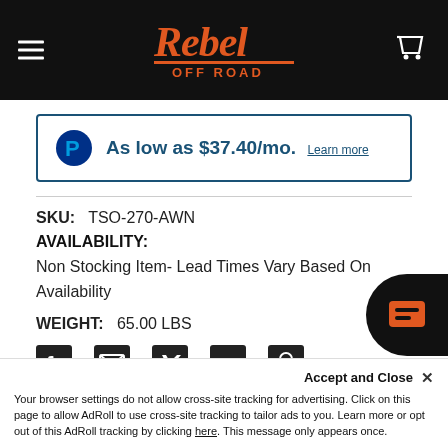Rebel Off Road
As low as $37.40/mo. Learn more
SKU:   TSO-270-AWN
AVAILABILITY:
Non Stocking Item- Lead Times Vary Based On Availability
WEIGHT:   65.00 LBS
[Figure (infographic): Social share icons: Facebook, Email, Twitter, LinkedIn, Pinterest]
Accept and Close ×
Your browser settings do not allow cross-site tracking for advertising. Click on this page to allow AdRoll to use cross-site tracking to tailor ads to you. Learn more or opt out of this AdRoll tracking by clicking here. This message only appears once.